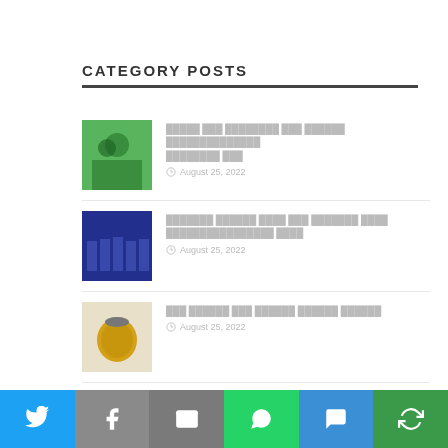CATEGORY POSTS
█████ ███ ████████ ███ ██████ ██████████████ ████████ ███ — August 25, 2022
███████ ██████ ████ ███ ███████ ████ ████████████████ ████ — August 25, 2022
███ ██████ ███ ██████ ██████ ██████ — August 25, 2022
████████████████ ████████████████ ██████ ████████████ — August 25, 2022